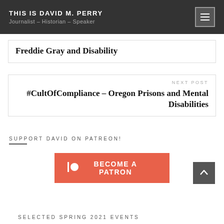THIS IS DAVID M. PERRY
Journalist – Historian – Speaker
Freddie Gray and Disability
NEXT POST
#CultOfCompliance – Oregon Prisons and Mental Disabilities
SUPPORT DAVID ON PATREON!
[Figure (infographic): Patreon 'BECOME A PATRON' orange button with Patreon circle icon]
SELECTED SPRING 2021 EVENTS